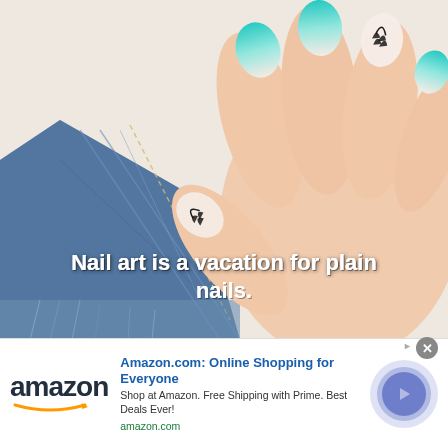[Figure (photo): Close-up photo of a hand holding denim fabric, showing nails with teal-to-white ombre design and black botanical leaf nail art. White overlay text reads 'Nail art is a vacation for plain nails.']
Nail art is a vacation for plain nails.
[Figure (screenshot): Amazon advertisement banner with Amazon logo, title 'Amazon.com: Online Shopping for Everyone', subtitle 'Shop at Amazon. Free Shipping with Prime. Best Deals Ever!', URL 'amazon.com', close button, and a purple circular play/arrow button.]